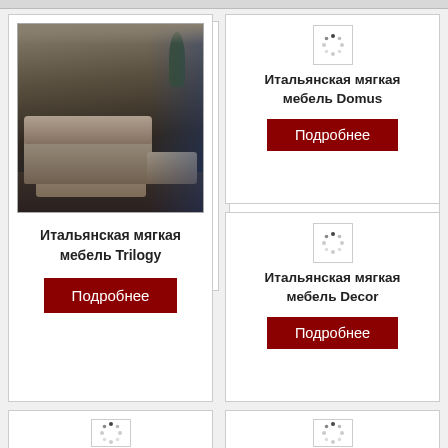[Figure (photo): Italian soft furniture Trilogy sofa in a living room setting, dark tones]
Итальянская мягкая мебель Trilogy
Подробнее
[Figure (other): Loading spinner icon for Domus product]
Итальянская мягкая мебель Domus
Подробнее
[Figure (other): Loading spinner icon for Decor product]
Итальянская мягкая мебель Decor
Подробнее
[Figure (other): Loading spinner icon for Modello 935 product]
Итальянская мягкая мебель Modello 935
[Figure (other): Loading spinner icon for Coupe product]
Итальянская мягкая мебель Coupe